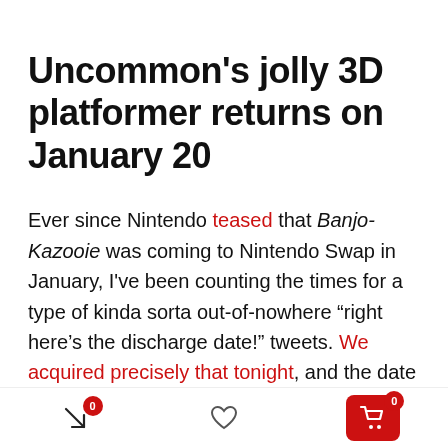Uncommon's jolly 3D platformer returns on January 20
Ever since Nintendo teased that Banjo-Kazooie was coming to Nintendo Swap in January, I've been counting the times for a type of kinda sorta out-of-nowhere “right here’s the discharge date!” tweets. We acquired precisely that tonight, and the date is about for this Thursday, January 20. Uncommon’s basic Jiggy-collecting journey is one in every of my